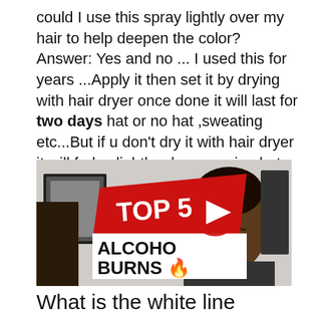could I use this spray lightly over my hair to help deepen the color? Answer: Yes and no ... I used this for years ...Apply it then set it by drying with hair dryer once done it will last for two days hat or no hat ,sweating etc...But if u don't dry it with hair dryer it will fade slightly when wearing hat ..Peace ..
[Figure (screenshot): YouTube video thumbnail showing a man in a barbershop grimacing, with overlay text 'TOP 5 ALCOHOL BURNS' and a YouTube play button]
What is the white line